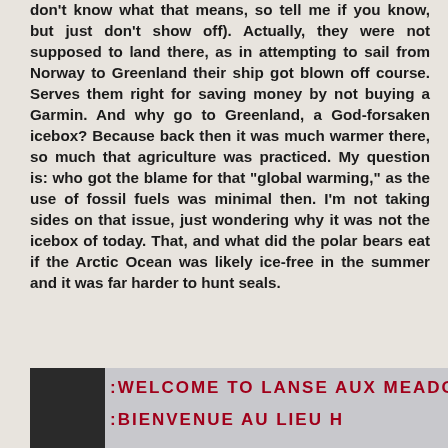don't know what that means, so tell me if you know, but just don't show off). Actually, they were not supposed to land there, as in attempting to sail from Norway to Greenland their ship got blown off course. Serves them right for saving money by not buying a Garmin. And why go to Greenland, a God-forsaken icebox? Because back then it was much warmer there, so much that agriculture was practiced. My question is: who got the blame for that "global warming," as the use of fossil fuels was minimal then. I'm not taking sides on that issue, just wondering why it was not the icebox of today. That, and what did the polar bears eat if the Arctic Ocean was likely ice-free in the summer and it was far harder to hunt seals.
[Figure (photo): Photo of a sign partially visible reading 'WELCOME TO LANSE AUX MEADOW' and 'BIENVENUE AU LIEU H' with dark left edge and light grey background]